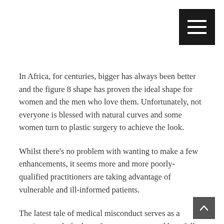[Figure (other): Hamburger menu icon button (black square with three white horizontal lines) in top-right corner]
In Africa, for centuries, bigger has always been better and the figure 8 shape has proven the ideal shape for women and the men who love them. Unfortunately, not everyone is blessed with natural curves and some women turn to plastic surgery to achieve the look.
Whilst there’s no problem with wanting to make a few enhancements, it seems more and more poorly- qualified practitioners are taking advantage of vulnerable and ill-informed patients.
The latest tale of medical misconduct serves as a cautionary tale for lots of young women and hopefully causes medical advisory boards such as the Nigerian Medical and Dental Council to take notice of the illegal
[Figure (other): Scroll-to-top button (dark grey square with upward caret arrow) in bottom-right corner]